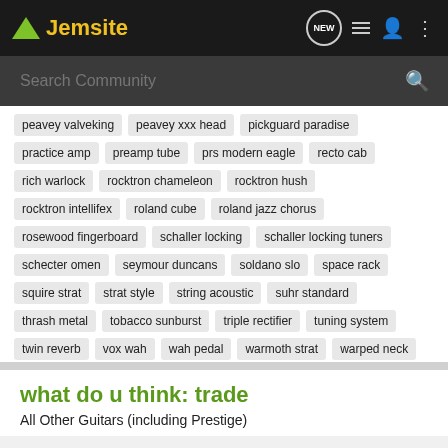Jemsite
peavey valveking
peavey xxx head
pickguard paradise
practice amp
preamp tube
prs modern eagle
recto cab
rich warlock
rocktron chameleon
rocktron hush
rocktron intellifex
roland cube
roland jazz chorus
rosewood fingerboard
schaller locking
schaller locking tuners
schecter omen
seymour duncans
soldano slo
space rack
squire strat
strat style
string acoustic
suhr standard
thrash metal
tobacco sunburst
triple rectifier
tuning system
twin reverb
vox wah
wah pedal
warmoth strat
warped neck
yamaha pacifica
yamaha rgx
what do u think: trade
All Other Guitars (including Prestige)